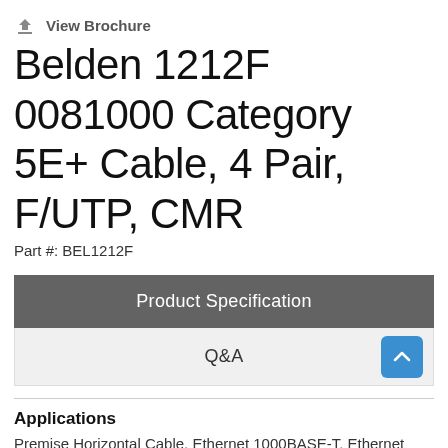View Brochure
Belden 1212F 0081000 Category 5E+ Cable, 4 Pair, F/UTP, CMR
Part #: BEL1212F
Product Specification
Q&A
Applications
Premise Horizontal Cable, Ethernet 1000BASE-T, Ethernet 100BASE-TX, Ethernet 10BASE-T, PoE++, PoE+, PoE, Noisy